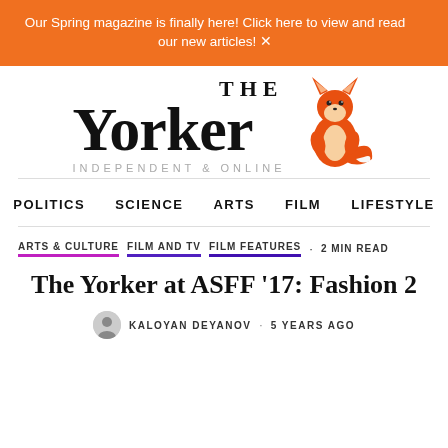Our Spring magazine is finally here! Click here to view and read our new articles!
[Figure (logo): The Yorker logo with stylized text 'The Yorker Independent & Online' and a fox illustration]
POLITICS   SCIENCE   ARTS   FILM   LIFESTYLE
ARTS & CULTURE   FILM AND TV   FILM FEATURES · 2 MIN READ
The Yorker at ASFF '17: Fashion 2
KALOYAN DEYANOV · 5 YEARS AGO